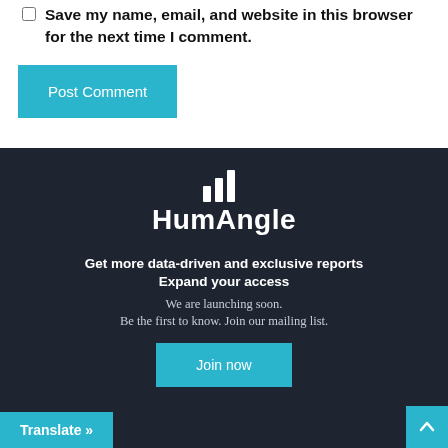Save my name, email, and website in this browser for the next time I comment.
Post Comment
[Figure (logo): HumAngle logo with bar chart icon above the text 'HumAngle' on dark background]
Get more data-driven and exclusive reports Expand your access
We are launching soon. Be the first to know. Join our mailing list.
Join now
Translate »